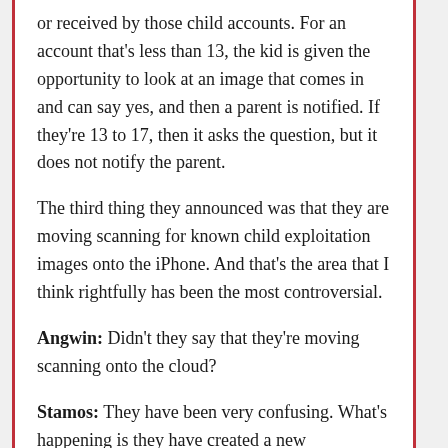or received by those child accounts. For an account that's less than 13, the kid is given the opportunity to look at an image that comes in and can say yes, and then a parent is notified. If they're 13 to 17, then it asks the question, but it does not notify the parent.
The third thing they announced was that they are moving scanning for known child exploitation images onto the iPhone. And that's the area that I think rightfully has been the most controversial.
Angwin: Didn't they say that they're moving scanning onto the cloud?
Stamos: They have been very confusing. What's happening is they have created a new mechanism to test photos on your device against a list of fingerprints that Apple builds into your device. That is only supposed to run on your photos if you